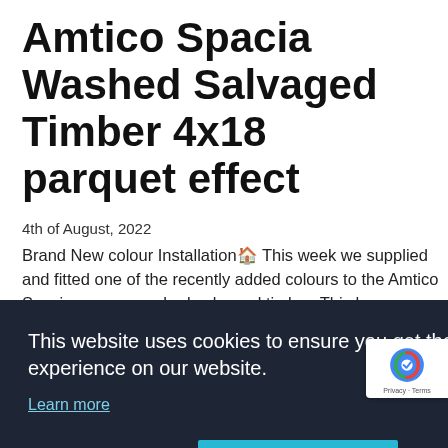Amtico Spacia Washed Salvaged Timber 4x18 parquet effect
4th of August, 2022
Brand New colour Installation🏠 This week we supplied and fitted one of the recently added colours to the Amtico Spacia range - washed salvaged timber. This has [... ture]
[Figure (screenshot): Cookie consent banner overlay on dark background reading: This website uses cookies to ensure you get the best experience on our website. Learn more. Decline | Allow cookies buttons.]
[Figure (photo): Partial image strip at bottom of page showing a room with flooring installation.]